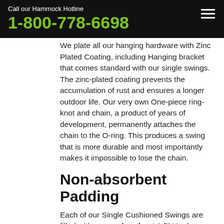Call our Hammock Hotline
1-800-778-6698
We plate all our hanging hardware with Zinc Plated Coating, including Hanging bracket that comes standard with our single swings. The zinc-plated coating prevents the accumulation of rust and ensures a longer outdoor life. Our very own One-piece ring-knot and chain, a product of years of development, permanently attaches the chain to the O-ring. This produces a swing that is more durable and most importantly makes it impossible to lose the chain.
Non-absorbent Padding
Each of our Single Cushioned Swings are filled with a non-absorbent 1.5” Urethane Foam that is sewn in between the two layers of fabric. The foam adds a pillow-like softness to the already comfortable fabric seat. The Foam Center is a nonabsorbent material allowing water to drain through and provide quick drying.